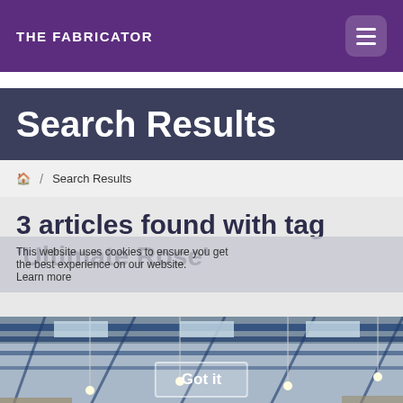THE FABRICATOR
Search Results
🏠  /  Search Results
3 articles found with tag 'Ultimate Rose'
This website uses cookies to ensure you get the best experience on our website. Learn more
[Figure (photo): Interior of an industrial warehouse or fabrication facility with blue steel roof trusses and hanging lights]
Got it